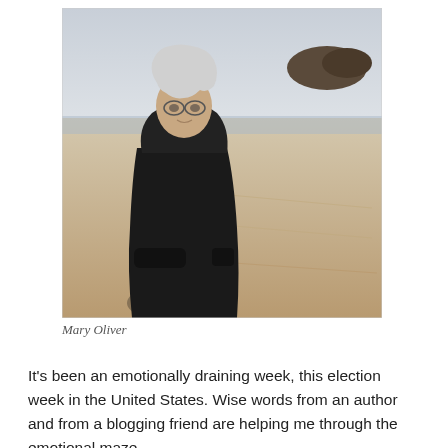[Figure (photo): Black and white photograph of an elderly woman with short gray hair and glasses, wearing a black hooded jacket, standing on a sandy beach with rocks visible in the background.]
Mary Oliver
It's been an emotionally draining week, this election week in the United States. Wise words from an author and from a blogging friend are helping me through the emotional maze.